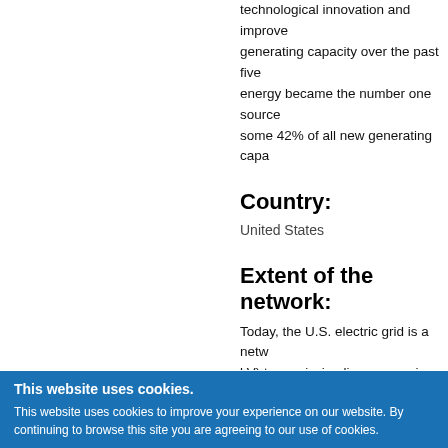technological innovation and improve... generating capacity over the past five... energy became the number one source... some 42% of all new generating capa...
Country:
United States
Extent of the network:
Today, the U.S. electric grid is a netw... kV) transmission lines, over six millio...
Capacity concerns:
Most of the electricity grid currently i...
This website uses cookies. This website uses cookies to improve your experience on our website. By continuing to browse this site you are agreeing to our use of cookies.